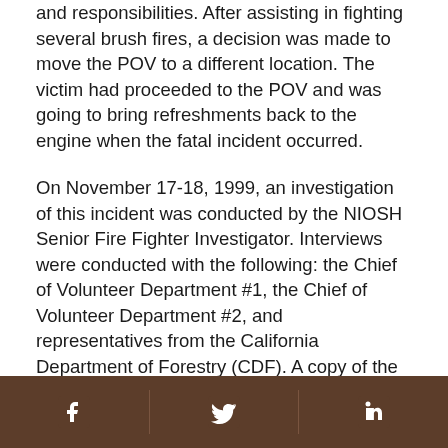and responsibilities. After assisting in fighting several brush fires, a decision was made to move the POV to a different location. The victim had proceeded to the POV and was going to bring refreshments back to the engine when the fatal incident occurred.
On November 17-18, 1999, an investigation of this incident was conducted by the NIOSH Senior Fire Fighter Investigator. Interviews were conducted with the following: the Chief of Volunteer Department #1, the Chief of Volunteer Department #2, and representatives from the California Department of Forestry (CDF). A copy of the CDF informational summary report was also obtained. The diagram used in this report was provided by the CDF.
The two volunteer departments involved in this
Facebook | Twitter | LinkedIn